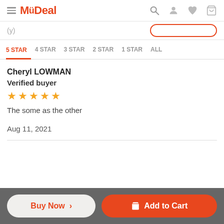MyDeal
5 STAR | 4 STAR | 3 STAR | 2 STAR | 1 STAR | ALL
Cheryl LOWMAN
Verified buyer
★★★★★
The some as the other
Aug 11, 2021
Buy Now > | Add to Cart